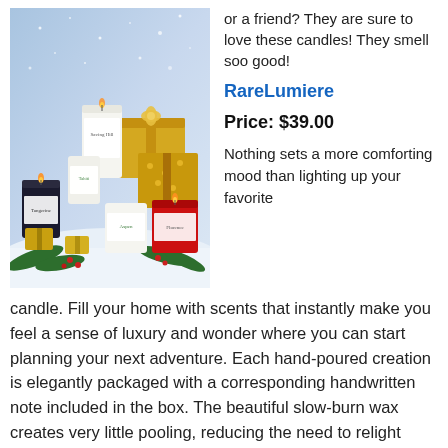[Figure (photo): Holiday candle set arranged with gold gift boxes and pine branches on a snowy background. Multiple candles visible with labels including Tangerine, Aspen, Florence, and others.]
or a friend? They are sure to love these candles! They smell soo good!
RareLumiere
Price: $39.00
Nothing sets a more comforting mood than lighting up your favorite candle. Fill your home with scents that instantly make you feel a sense of luxury and wonder where you can start planning your next adventure. Each hand-poured creation is elegantly packaged with a corresponding handwritten note included in the box. The beautiful slow-burn wax creates very little pooling, reducing the need to relight used wax or